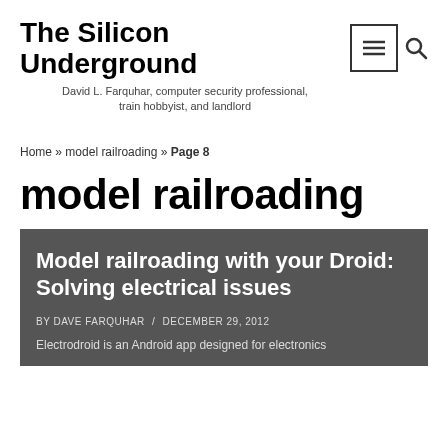The Silicon Underground
David L. Farquhar, computer security professional, train hobbyist, and landlord
Home » model railroading » Page 8
model railroading
Model railroading with your Droid: Solving electrical issues
BY DAVE FARQUHAR / DECEMBER 29, 2012
Electrodroid is an Android app designed for electronics